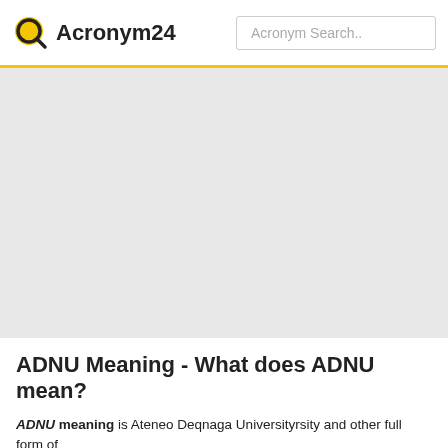Acronym24   Acronym Search..
ADNU Meaning - What does ADNU mean?
ADNU meaning is Ateneo Deqnaga Universityrsity and other full form of ADNU definition take part in below table.  More Info ▶